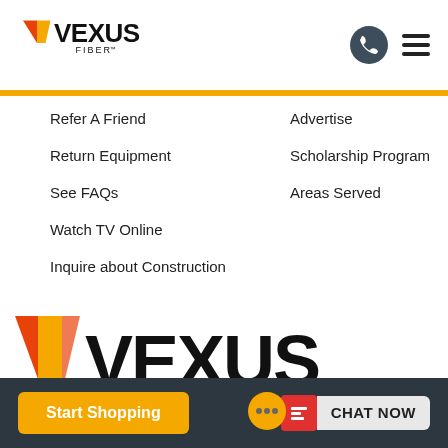[Figure (logo): Vexus Fiber logo with stylized W/V checkmark in orange and yellow, text VEXUS FIBER]
[Figure (other): Phone icon in dark circle and hamburger menu icon]
Refer A Friend
Advertise
Return Equipment
Scholarship Program
See FAQs
Areas Served
Watch TV Online
Inquire about Construction
[Figure (logo): Large Vexus logo with stylized W/V in orange/red gradient and text DISCOVER DIFFERENT below]
Start Shopping
CHAT NOW